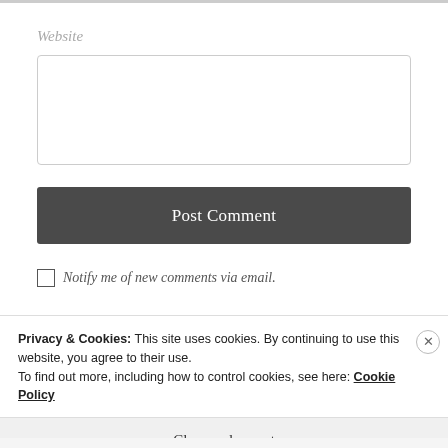Website
Post Comment
Notify me of new comments via email.
Privacy & Cookies: This site uses cookies. By continuing to use this website, you agree to their use.
To find out more, including how to control cookies, see here: Cookie Policy
Close and accept